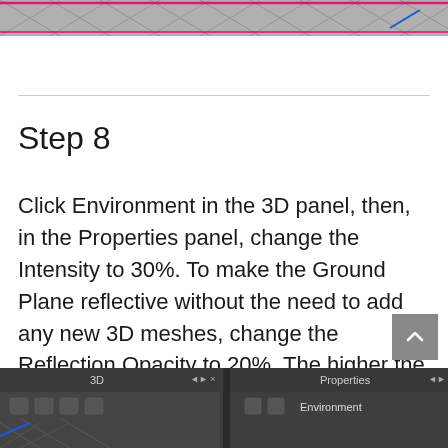[Figure (screenshot): Top portion of a 3D panel screenshot showing a mesh pattern with pink/magenta lines on gray background]
Step 8
Click Environment in the 3D panel, then, in the Properties panel, change the Intensity to 30%. To make the Ground Plane reflective without the need to add any new 3D meshes, change the Reflection Opacity to 20%. The higher the value the more reflective the ground plane is.
[Figure (screenshot): Bottom portion showing 3D and Properties panels in Photoshop with Environment selected]